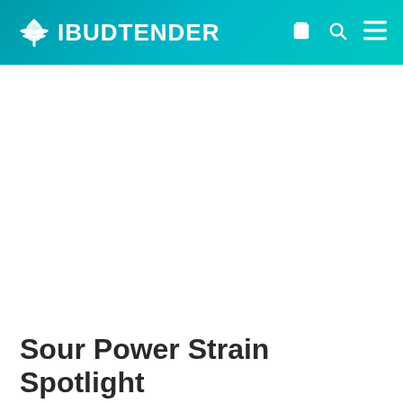iBUDTENDER
Sour Power Strain Spotlight